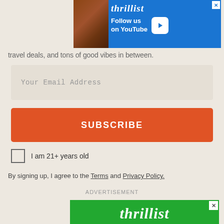[Figure (screenshot): Thrillist advertisement banner - Follow us on YouTube with blue background and play button]
travel deals, and tons of good vibes in between.
Your Email Address
SUBSCRIBE
I am 21+ years old
By signing up, I agree to the Terms and Privacy Policy.
ADVERTISEMENT
[Figure (screenshot): Thrillist advertisement - Follow us on Instagram with green background and food image below]